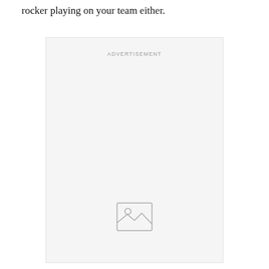rocker playing on your team either.
[Figure (other): Advertisement placeholder box with an image icon in the lower center. The box has a light grey background and contains the label 'ADVERTISEMENT' at the top and a small image placeholder icon near the bottom.]